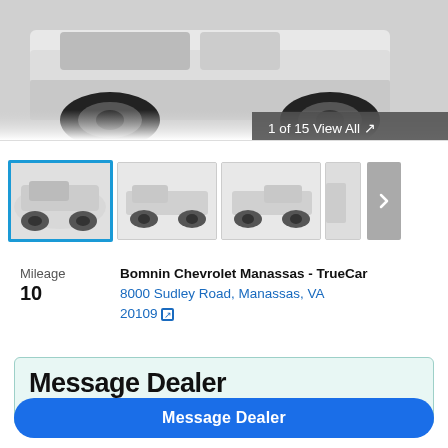[Figure (photo): Vehicle listing photo - top portion of a white Chevrolet pickup truck (partial view of wheels/undercarriage), with '1 of 15 View All' badge overlay]
[Figure (photo): Thumbnail row showing 4 thumbnails of a white Chevrolet pickup truck from different angles; first thumbnail is selected with a blue border; a '>' next button on the right]
Mileage
10
Bomnin Chevrolet Manassas - TrueCar
8000 Sudley Road, Manassas, VA 20109
Message Dealer
Bomnin Chevrolet Manassas - TrueCar
Message Dealer